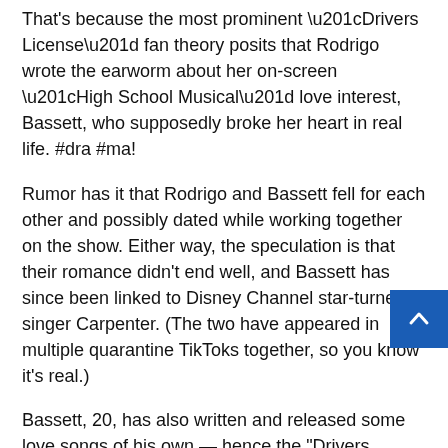That's because the most prominent “Drivers License” fan theory posits that Rodrigo wrote the earworm about her on-screen “High School Musical” love interest, Bassett, who supposedly broke her heart in real life. #dra #ma!
Rumor has it that Rodrigo and Bassett fell for each other and possibly dated while working together on the show. Either way, the speculation is that their romance didn’t end well, and Bassett has since been linked to Disney Channel star-turned-singer Carpenter. (The two have appeared in multiple quarantine TikToks together, so you know it’s real.)
Bassett, 20, has also written and released some love songs of his own — hence the “Drivers License” lyric, “I gue didn’t mean what you wrote in that song about me.” Rodrigo also mentions a “blond girl” that’s “so much older” than her on the track. Carpenter is, in fact, blond and four